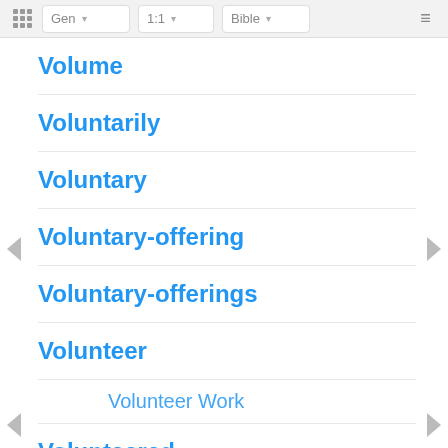Gen 1:1 Bible
Volume
Voluntarily
Voluntary
Voluntary-offering
Voluntary-offerings
Volunteer
Volunteer Work
Volunteered
Volunteers
Voluptuous